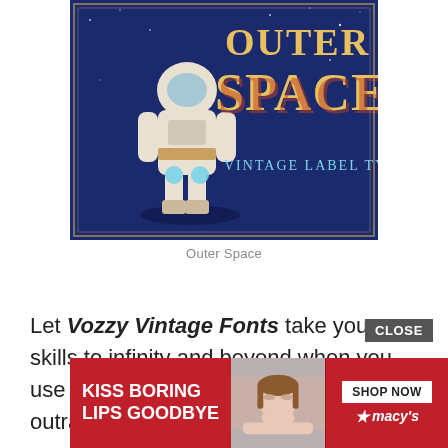[Figure (illustration): Vintage label typeface promotional banner showing an astronaut figure with large decorative text reading 'OUTER SPACE' and subtitle 'Vintage Label Typeface' on a dark blue starry background]
Outer Space
Let Vozzy Vintage Fonts take your skills to infinity and beyond when you use this label font that comes in 4 outrageous styles (aged, shadow, regular, shadow effect) as well
[Figure (screenshot): Advertisement overlay: red banner with 'KISS BORING LIPS GOODBYE' text on left, woman's face in center, 'SHOP NOW' button and Macy's star logo on right. CLOSE button in gray above.]